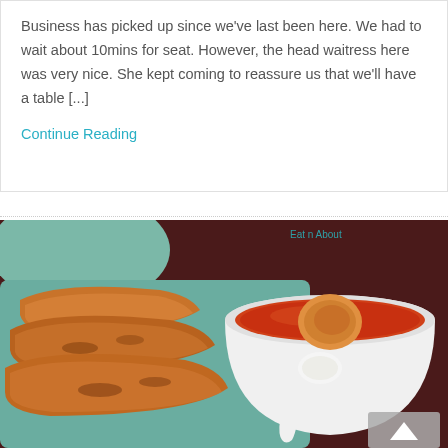Business has picked up since we've last been here. We had to wait about 10mins for seat. However, the head waitress here was very nice. She kept coming to reassure us that we'll have a table [...]
Continue Reading
[Figure (photo): Close-up photo of fried spring rolls or roti on a teal/green plate beside a white bowl with orange/red curry soup and a white spoon. Watermark reads 'Eat n About' in top right corner. A grey scroll-to-top button is visible in the bottom right.]